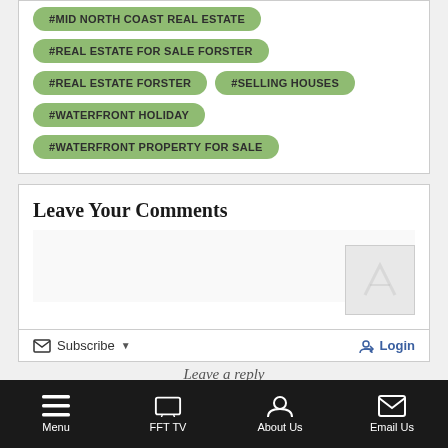#MID NORTH COAST REAL ESTATE
#REAL ESTATE FOR SALE FORSTER
#REAL ESTATE FORSTER
#SELLING HOUSES
#WATERFRONT HOLIDAY
#WATERFRONT PROPERTY FOR SALE
Leave Your Comments
Subscribe  Login
Menu  FFT TV  About Us  Email Us